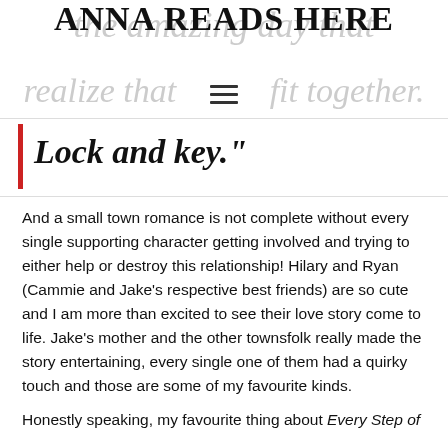ANNA READS HERE
realize that we fit together.
Lock and key."
And a small town romance is not complete without every single supporting character getting involved and trying to either help or destroy this relationship! Hilary and Ryan (Cammie and Jake's respective best friends) are so cute and I am more than excited to see their love story come to life. Jake's mother and the other townsfolk really made the story entertaining, every single one of them had a quirky touch and those are some of my favourite kinds.
Honestly speaking, my favourite thing about Every Step of